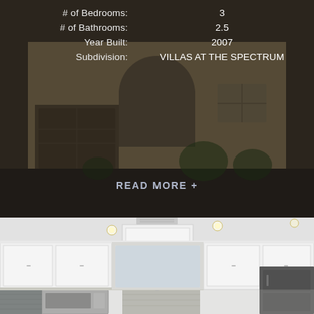[Figure (photo): Exterior photo of a single-family home with beige/tan stucco facade, arched garage entry, and desert landscaping. Dark overlay applied.]
# of Bedrooms: 3
# of Bathrooms: 2.5
Year Built: 2007
Subdivision: VILLAS AT THE SPECTRUM
READ MORE +
[Figure (photo): Interior photo of a kitchen with white cabinets, gray subway tile backsplash, stainless steel microwave and refrigerator, recessed lighting, and white ceiling with crown molding.]